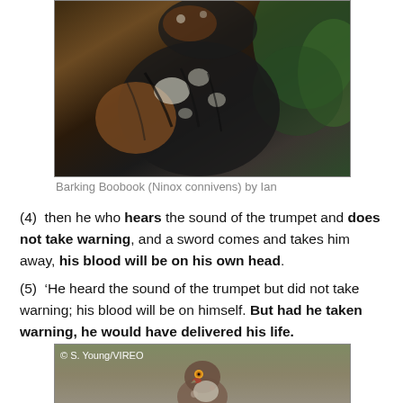[Figure (photo): Close-up photograph of a Barking Boobook (Ninox connivens) bird with dark and brown feathers, with green foliage visible in the background.]
Barking Boobook (Ninox connivens) by Ian
(4)  then he who hears the sound of the trumpet and does not take warning, and a sword comes and takes him away, his blood will be on his own head.
(5)  ‘He heard the sound of the trumpet but did not take warning; his blood will be on himself. But had he taken warning, he would have delivered his life.
[Figure (photo): Photograph of a small bird with yellow-orange eyes, brown and white plumage, looking directly at the camera. Watermark reads © S. Young/VIREO in white text.]